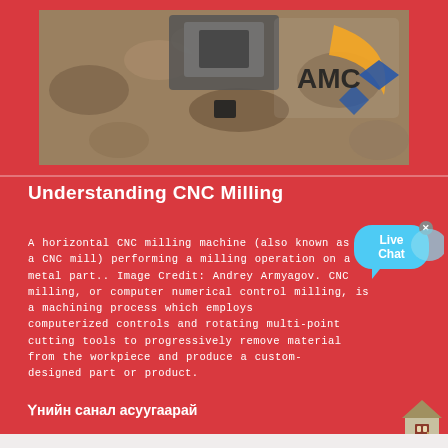[Figure (photo): Aerial/overhead photograph of a CNC milling machine or heavy equipment on a rocky surface with the AMC logo visible in the upper right corner of the image.]
Understanding CNC Milling
A horizontal CNC milling machine (also known as a CNC mill) performing a milling operation on a metal part.. Image Credit: Andrey Armyagov. CNC milling, or computer numerical control milling, is a machining process which employs computerized controls and rotating multi-point cutting tools to progressively remove material from the workpiece and produce a custom-designed part or product.
Үнийн санал асуугаарай